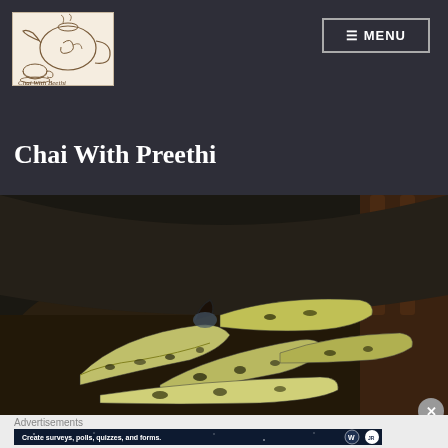[Figure (logo): Chai With Preethi logo — hand-drawn sketch of a teapot and teacup with decorative swirls and script text 'Chai With Beethi']
≡ MENU
Chai With Preethi
[Figure (photo): Overhead photograph of overripe spotted bananas piled on a dark wooden surface, with a wooden chair back visible in the background]
Advertisements
[Figure (screenshot): Advertisement banner with dark blue starry background reading 'Create surveys, polls, quizzes, and forms.' with WordPress and another logo on the right]